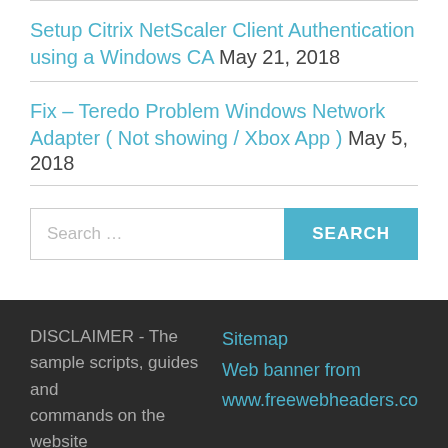Setup Citrix NetScaler Client Authentication using a Windows CA May 21, 2018
Fix – Teredo Problem Windows Network Adapter ( Not showing / Xbox App ) May 5, 2018
[Figure (other): Search input field with SEARCH button]
DISCLAIMER - The sample scripts, guides and commands on the website | Sitemap | Web banner from | www.freewebheaders.co